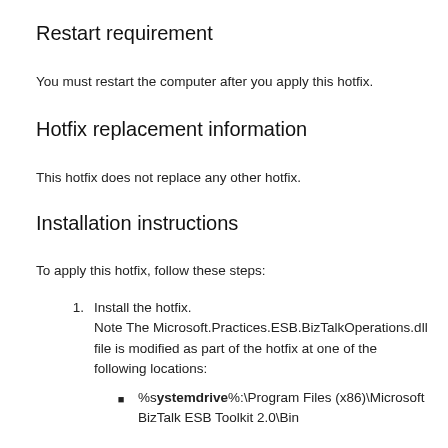Restart requirement
You must restart the computer after you apply this hotfix.
Hotfix replacement information
This hotfix does not replace any other hotfix.
Installation instructions
To apply this hotfix, follow these steps:
Install the hotfix. Note The Microsoft.Practices.ESB.BizTalkOperations.dll file is modified as part of the hotfix at one of the following locations:
%systemdrive%:\Program Files (x86)\Microsoft BizTalk ESB Toolkit 2.0\Bin